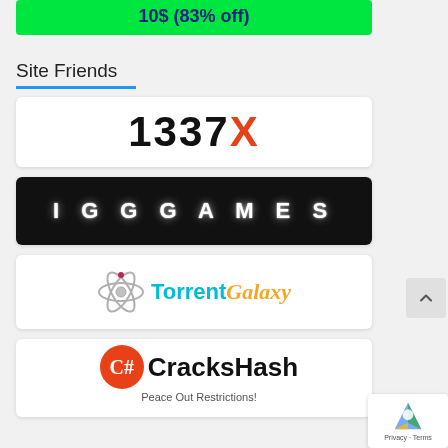10$ (83% off)
Site Friends
[Figure (logo): 1337X logo — bold black text '1337' followed by red/orange 'X']
[Figure (logo): IGG Games logo — white spaced text 'I G G G A M E S' on dark background with light glow effect]
[Figure (logo): TorrentGalaxy logo — atom icon, cyan 'Torrent', yellow italic 'Galaxy']
[Figure (logo): CracksHash logo — orange circle C# icon, bold 'CracksHash', tagline 'Peace Out Restrictions!']